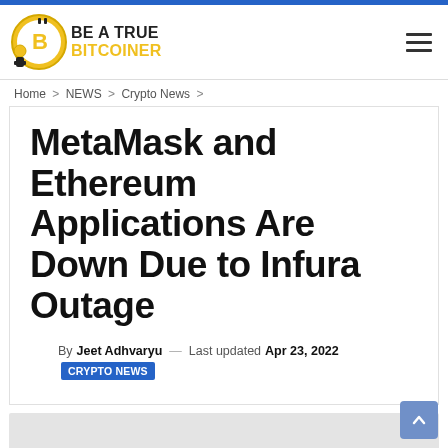BE A TRUE BITCOINER
Home > NEWS > Crypto News >
MetaMask and Ethereum Applications Are Down Due to Infura Outage
By Jeet Adhvaryu — Last updated Apr 23, 2022 CRYPTO NEWS
[Figure (other): Gray placeholder image area at bottom of article]